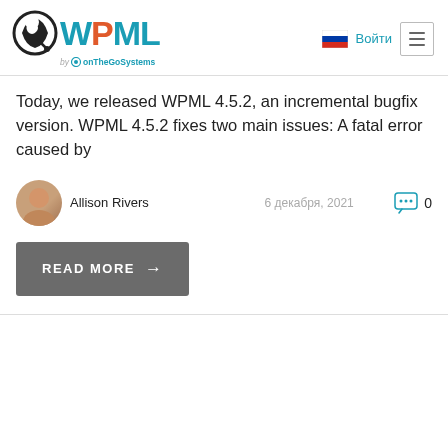[Figure (logo): WPML logo with globe icon and 'by onTheGoSystems' tagline]
Today, we released WPML 4.5.2, an incremental bugfix version. WPML 4.5.2 fixes two main issues: A fatal error caused by
Allison Rivers   6 декабря, 2021   0
READ MORE →